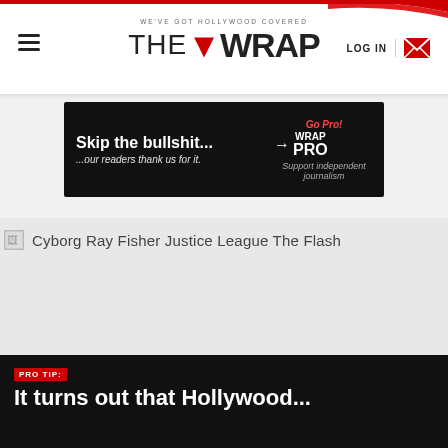WE'VE GOT HOLLYWOOD COVERED | THE WRAP | LOG IN
[Figure (screenshot): TheWrap website advertisement banner: black background with white text 'Skip the bullshit...' and red italic text '...our readers thank us for it.' with WrapPRO logo and 'Support independent journalism' text, Go Pro! call to action]
Cyborg Ray Fisher Justice League The Flash
[Figure (photo): Placeholder image area - broken image icon visible, large grey area where article image should appear]
PRO TIP: It turns out that Hollywood...